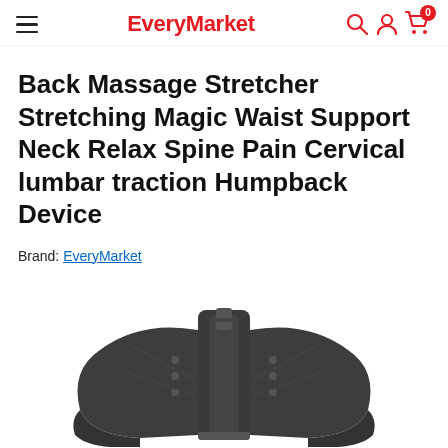EveryMarket
Back Massage Stretcher Stretching Magic Waist Support Neck Relax Spine Pain Cervical lumbar traction Humpback Device
Brand: EveryMarket
[Figure (photo): Dark gray/black back massage stretcher device shown from above, partially visible at bottom of page]